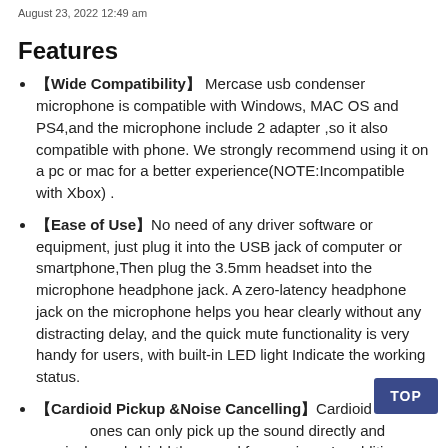August 23, 2022 12:49 am
Features
【Wide Compatibility】 Mercase usb condenser microphone is compatible with Windows, MAC OS and PS4,and the microphone include 2 adapter ,so it also compatible with phone. We strongly recommend using it on a pc or mac for a better experience(NOTE:Incompatible with Xbox) .
【Ease of Use】No need of any driver software or equipment, just plug it into the USB jack of computer or smartphone,Then plug the 3.5mm headset into the microphone headphone jack. A zero-latency headphone jack on the microphone helps you hear clearly without any distracting delay, and the quick mute functionality is very handy for users, with built-in LED light Indicate the working status.
【Cardioid Pickup &Noise Cancelling】Cardioid microphones can only pick up the sound directly and precisely, and shield the sound from noises. In addition, our product